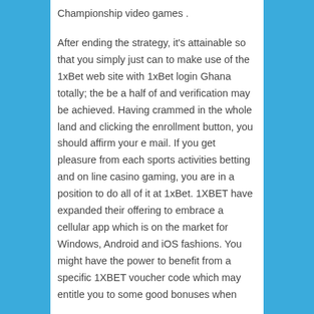Championship video games . After ending the strategy, it's attainable so that you simply just can to make use of the 1xBet web site with 1xBet login Ghana totally; the be a half of and verification may be achieved. Having crammed in the whole land and clicking the enrollment button, you should affirm your e mail. If you get pleasure from each sports activities betting and on line casino gaming, you are in a position to do all of it at 1xBet. 1XBET have expanded their offering to embrace a cellular app which is on the market for Windows, Android and iOS fashions. You might have the power to benefit from a specific 1XBET voucher code which may entitle you to some good bonuses when